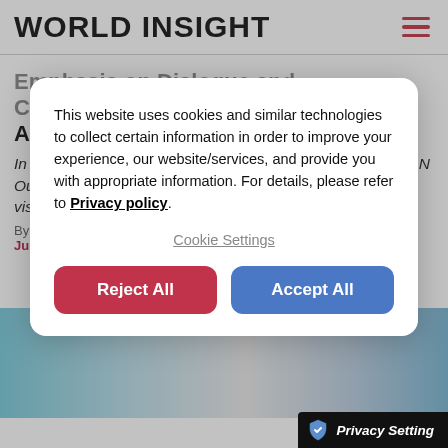WORLD INSIGHT
Emphasis on Dialogue and Cooperation: ASEAN Outlook on the Indo-Pacific
In June 2019, the 34th ASEAN Summit adopted the "ASEAN Outlook on the Indo-Pacific" (AOIP) as the regional group's vision for the Indo-Pacific.
This website uses cookies and similar technologies to collect certain information in order to improve your experience, our website/services, and provide you with appropriate information. For details, please refer to Privacy policy.
Cookie Settings
Reject All
Accept All
Privacy Setting